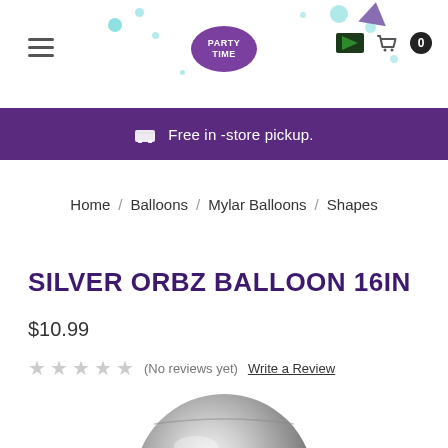Party Time — Free in -store pickup.
Home / Balloons / Mylar Balloons / Shapes
SILVER ORBZ BALLOON 16IN
$10.99
★★★★★ (No reviews yet) Write a Review
[Figure (photo): Silver orbz balloon, rounded metallic silver balloon, partially visible at the bottom of the page]